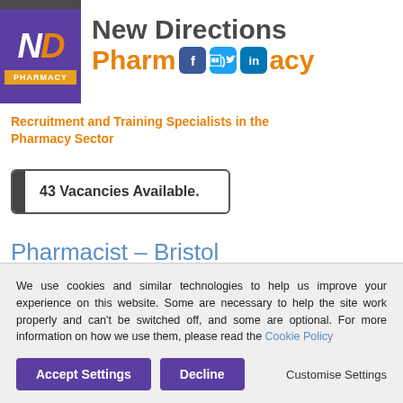[Figure (logo): New Directions Pharmacy logo with purple square containing ND letters and orange PHARMACY label]
New Directions Pharmacy
Recruitment and Training Specialists in the Pharmacy Sector
43 Vacancies Available.
Pharmacist – Bristol
Location: Bristol - South West
We use cookies and similar technologies to help us improve your experience on this website. Some are necessary to help the site work properly and can't be switched off, and some are optional. For more information on how we use them, please read the Cookie Policy
Accept Settings
Decline
Customise Settings